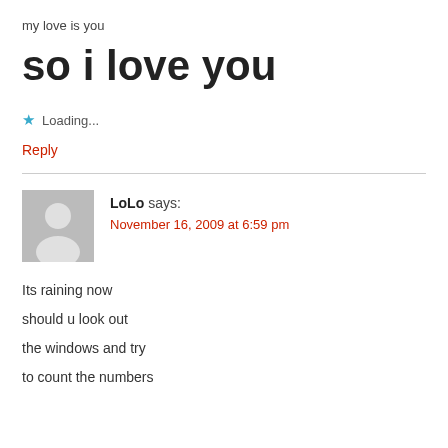my love is you
so i love you
★ Loading...
Reply
LoLo says:
November 16, 2009 at 6:59 pm
Its raining now
should u look out
the windows and try
to count the numbers